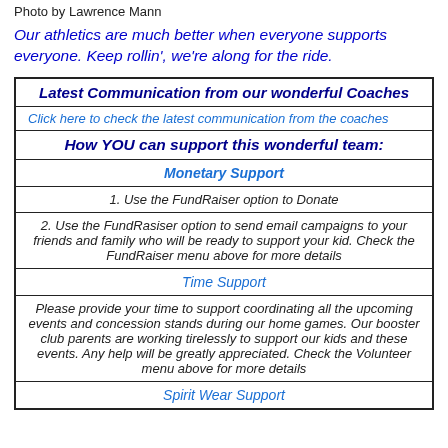Photo by Lawrence Mann
Our athletics are much better when everyone supports everyone. Keep rollin', we're along for the ride.
| Latest Communication from our wonderful Coaches |
| Click here to check the latest communication from the coaches |
| How YOU can support this wonderful team: |
| Monetary Support |
| 1. Use the FundRaiser option to Donate |
| 2. Use the FundRasiser option to send email campaigns to your friends and family who will be ready to support your kid. Check the FundRaiser menu above for more details |
| Time Support |
| Please provide your time to support coordinating all the upcoming events and concession stands during our home games. Our booster club parents are working tirelessly to support our kids and these events. Any help will be greatly appreciated. Check the Volunteer menu above for more details |
| Spirit Wear Support |